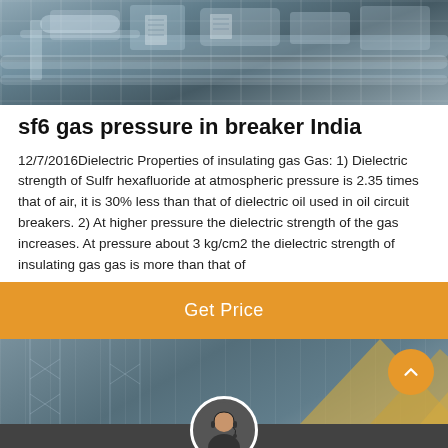[Figure (photo): Industrial equipment with pipes and large cylindrical tanks or circuit breakers, gray industrial setting]
sf6 gas pressure in breaker India
12/7/2016Dielectric Properties of insulating gas Gas: 1) Dielectric strength of Sulfr hexafluoride at atmospheric pressure is 2.35 times that of air, it is 30% less than that of dielectric oil used in oil circuit breakers. 2) At higher pressure the dielectric strength of the gas increases. At pressure about 3 kg/cm2 the dielectric strength of insulating gas gas is more than that of
Get Price
[Figure (photo): Industrial electrical infrastructure, scaffolding and angular structures visible, bottom portion of the page]
Leave Message   Chat Online